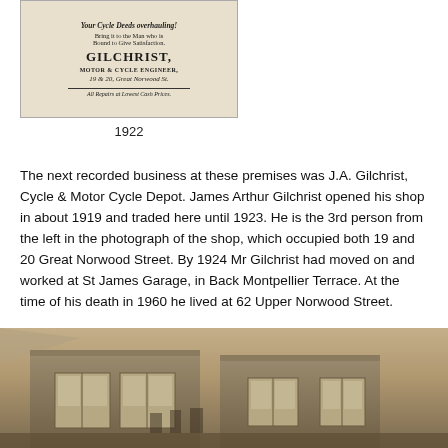[Figure (photo): Scanned vintage newspaper advertisement for Gilchrist, Motor & Cycle Engineer, 19 & 20 Great Norwood St. Text reads: 'Your Cycle Deeds overhauling! Bring it to the Man who is Bound to Give Satisfaction. GILCHRIST, MOTOR & CYCLE ENGINEER, 19 & 20, Great Norwood St. All Repairs at Lowest Cash Prices.']
1922
The next recorded business at these premises was J.A. Gilchrist, Cycle & Motor Cycle Depot. James Arthur Gilchrist opened his shop in about 1919 and traded here until 1923. He is the 3rd person from the left in the photograph of the shop, which occupied both 19 and 20 Great Norwood Street. By 1924 Mr Gilchrist had moved on and worked at St James Garage, in Back Montpellier Terrace. At the time of his death in 1960 he lived at 62 Upper Norwood Street.
[Figure (photo): Sepia photograph of the exterior of 19 and 20 Great Norwood Street, showing a building with bay windows, partially cropped at the bottom of the page.]